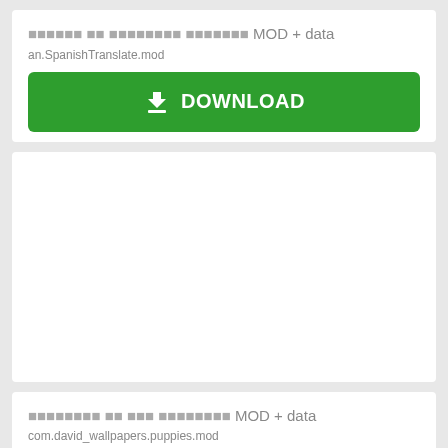скачать на андроид испаний MOD + data
an.SpanishTranslate.mod
[Figure (screenshot): Green DOWNLOAD button with download icon]
[Figure (screenshot): Advertisement block (empty white space)]
обои щенки на телефон MOD + data
com.david_wallpapers.puppies.mod
[Figure (screenshot): Green DOWNLOAD button with download icon]